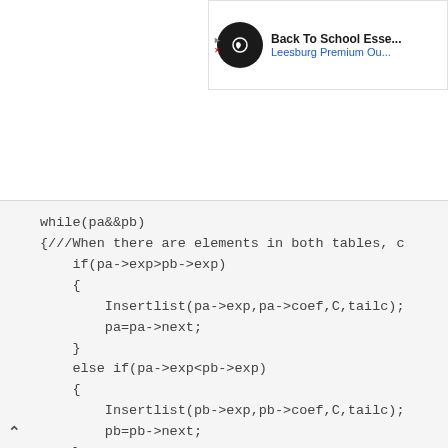[Figure (screenshot): Advertisement banner for Back To School Essentials at Leesburg Premium Outlets, with a circular black logo and play button icon]
while(pa&&pb)
{///When there are elements in both tables, c
    if(pa->exp>pb->exp)
    {
        Insertlist(pa->exp,pa->coef,C,tailc);
        pa=pa->next;
    }
    else if(pa->exp<pb->exp)
    {
        Insertlist(pb->exp,pb->coef,C,tailc);
        pb=pb->next;
    }
    else
    {//When the index is the same, the coeffi
        double x=pa->coef+pb->coef;
        if(x!=0) Insertlist(pa->exp,x,C,tailc
        pa=pa->next;